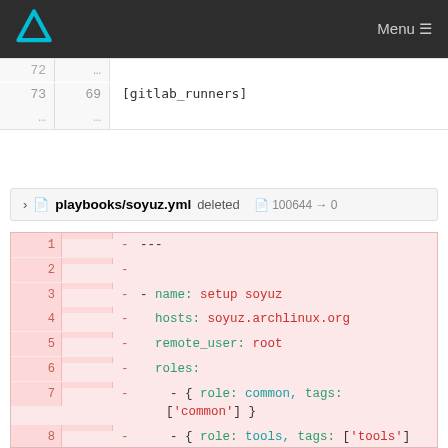Menu
| old line | new line | code |
| --- | --- | --- |
| 72 | ... | ... |
| 73 | 69 | [gitlab_runners] |
| ... | ... |  |
playbooks/soyuz.yml deleted 100644 → 0
[Figure (screenshot): Diff view of deleted file playbooks/soyuz.yml showing lines 1-12 with YAML content including name: setup soyuz, hosts, remote_user, roles with common, tools, sshd, unbound, root_ssh, borg-client]